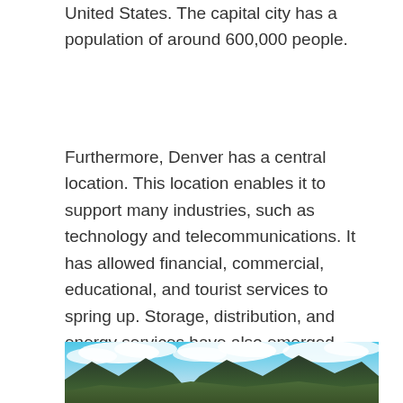United States. The capital city has a population of around 600,000 people.
Furthermore, Denver has a central location. This location enables it to support many industries, such as technology and telecommunications. It has allowed financial, commercial, educational, and tourist services to spring up. Storage, distribution, and energy services have also emerged. Most of these industries serve the surrounding Rocky Mountain States.
[Figure (photo): Photograph of Rocky Mountain foothills with dramatic cloudy blue sky above green tree-covered slopes and rocky outcroppings in the foreground.]